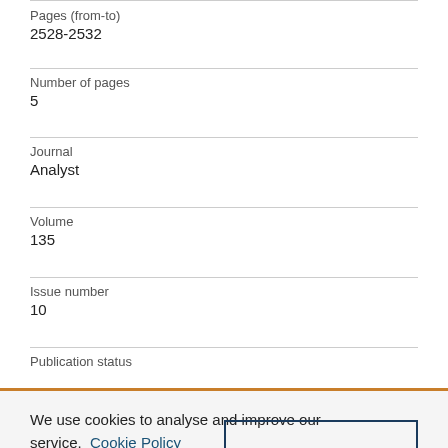Pages (from-to)
2528-2532
Number of pages
5
Journal
Analyst
Volume
135
Issue number
10
Publication status
We use cookies to analyse and improve our service. Cookie Policy